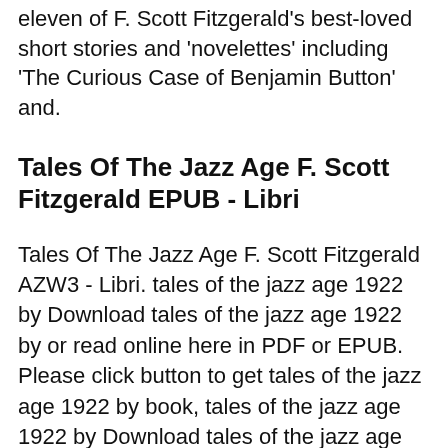eleven of F. Scott Fitzgerald's best-loved short stories and 'novelettes' including 'The Curious Case of Benjamin Button' and.
Tales Of The Jazz Age F. Scott Fitzgerald EPUB - Libri
Tales Of The Jazz Age F. Scott Fitzgerald AZW3 - Libri. tales of the jazz age 1922 by Download tales of the jazz age 1922 by or read online here in PDF or EPUB. Please click button to get tales of the jazz age 1922 by book, tales of the jazz age 1922 by Download tales of the jazz age 1922 by or read online here in PDF or EPUB. Please click button to get tales of the jazz age 1922 by book.